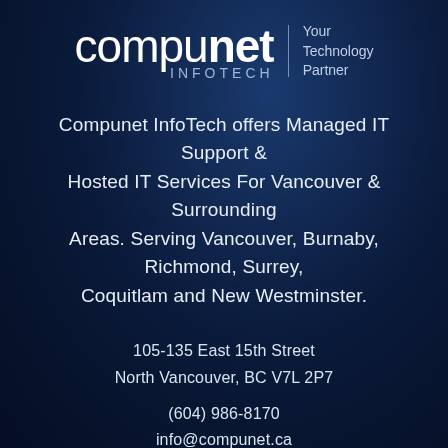[Figure (logo): Compunet Infotech logo with tagline 'Your Technology Partner']
Compunet InfoTech offers Managed IT Support & Hosted IT Services For Vancouver & Surrounding Areas. Serving Vancouver, Burnaby, Richmond, Surrey, Coquitlam and New Westminster.
105-135 East 15th Street
North Vancouver, BC V7L 2P7
(604) 986-8170
info@compunet.ca
About Us
Why Choose Us?
Media Centre